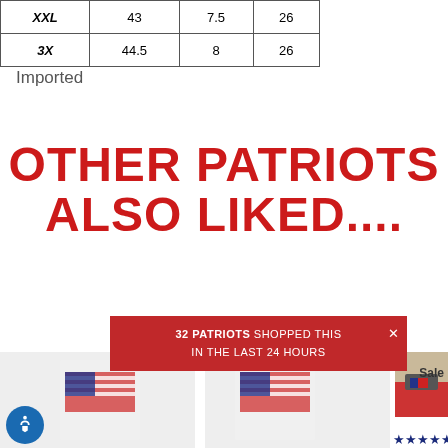| XXL | 43 | 7.5 | 26 |
| 3X | 44.5 | 8 | 26 |
Imported
OTHER PATRIOTS ALSO LIKED....
32 PATRIOTS SHOPPED THIS IN THE LAST 24 HOURS
[Figure (photo): Three patriotic apparel product images: two American flag shirts and a hat]
Sale